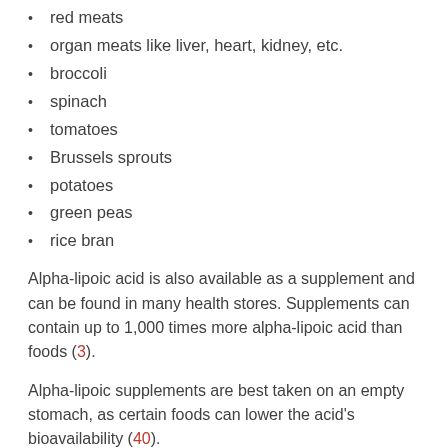red meats
organ meats like liver, heart, kidney, etc.
broccoli
spinach
tomatoes
Brussels sprouts
potatoes
green peas
rice bran
Alpha-lipoic acid is also available as a supplement and can be found in many health stores. Supplements can contain up to 1,000 times more alpha-lipoic acid than foods (3).
Alpha-lipoic supplements are best taken on an empty stomach, as certain foods can lower the acid's bioavailability (40).
Though there is no set dosage, most evidence suggests that 300–600 mg is sufficient and safe. Alternatively, you can